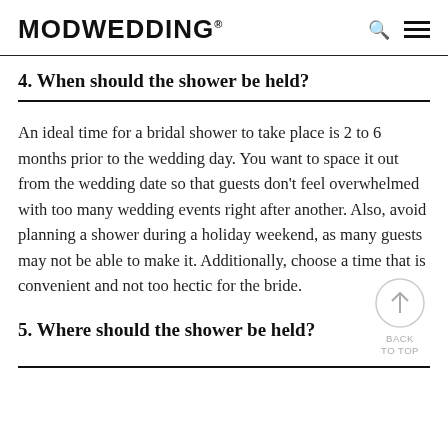MODWEDDING®
4. When should the shower be held?
An ideal time for a bridal shower to take place is 2 to 6 months prior to the wedding day. You want to space it out from the wedding date so that guests don't feel overwhelmed with too many wedding events right after another. Also, avoid planning a shower during a holiday weekend, as many guests may not be able to make it. Additionally, choose a time that is convenient and not too hectic for the bride.
5. Where should the shower be held?